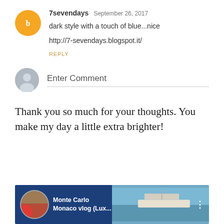7sevendays  September 26, 2017
dark style with a touch of blue...nice
http://7-sevendays.blogspot.it/
REPLY
Enter Comment
Thank you so much for your thoughts. You make my day a little extra brighter!
[Figure (screenshot): Video thumbnail showing Monte Carlo Monaco vlog (Lux... with a person avatar and water/boat scene]